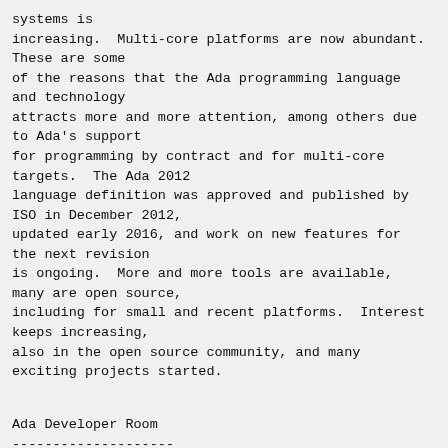systems is
increasing.  Multi-core platforms are now abundant.
These are some
of the reasons that the Ada programming language
and technology
attracts more and more attention, among others due
to Ada's support
for programming by contract and for multi-core
targets.  The Ada 2012
language definition was approved and published by
ISO in December 2012,
updated early 2016, and work on new features for
the next revision
is ongoing.  More and more tools are available,
many are open source,
including for small and recent platforms.  Interest
keeps increasing,
also in the open source community, and many
exciting projects started.
Ada Developer Room
--------------------
FOSDEM is an ideal fit for Ada developers to meet.
On the one hand,
it gives the general open source community an
opportunity to see what
is happening in the Ada community and how Ada
technology can help to